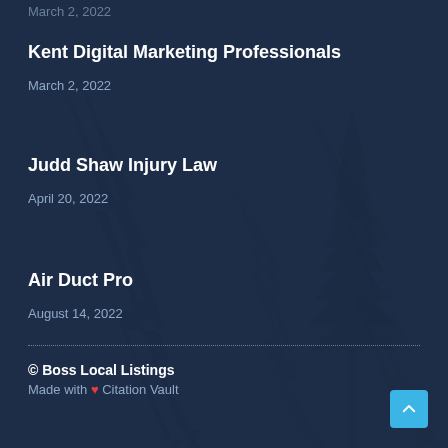Kent Digital Marketing Professionals
March 2, 2022
Judd Shaw Injury Law
April 20, 2022
Air Duct Pro
August 14, 2022
© Boss Local Listings
Made with ❤ Citation Vault